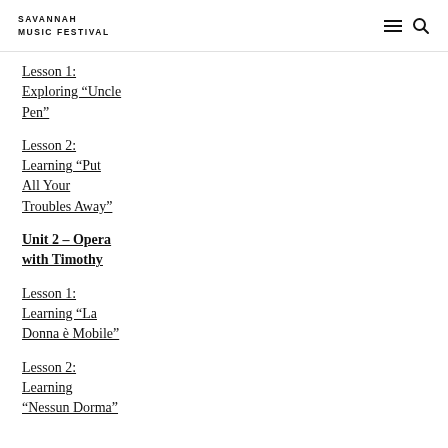SAVANNAH MUSIC FESTIVAL
Lesson 1: Exploring "Uncle Pen"
Lesson 2: Learning "Put All Your Troubles Away"
Unit 2 – Opera with Timothy
Lesson 1: Learning "La Donna è Mobile"
Lesson 2: Learning "Nessun Dorma"